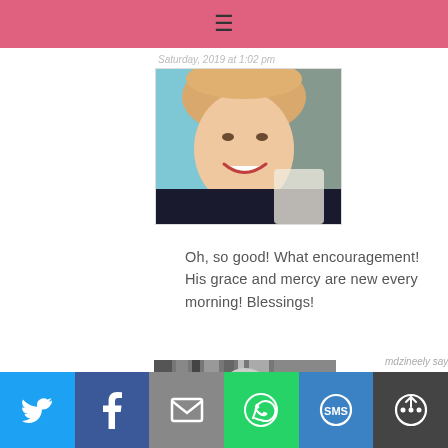[Figure (photo): Pink navigation bar with hamburger menu icon]
Saturday, 2019 at 1:02 pm
[Figure (photo): Profile photo of a smiling woman with blonde hair outdoors]
Oh, so good! What encouragement! His grace and mercy are new every morning! Blessings!
Reply
mdzineely says
[Figure (photo): Partially visible profile photo thumbnail]
[Figure (infographic): Social share bar with Twitter, Facebook, Email, WhatsApp, SMS, and More buttons]